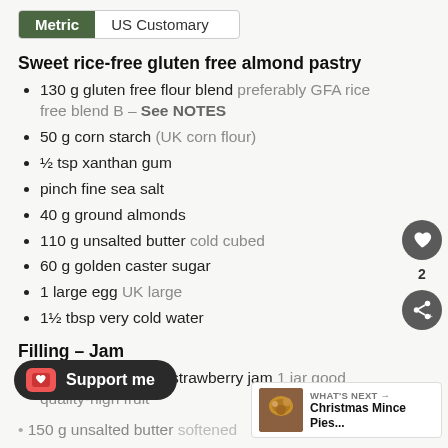Metric | US Customary
Sweet rice-free gluten free almond pastry
130 g gluten free flour blend preferably GFA rice free blend B – See NOTES
50 g corn starch (UK corn flour)
½ tsp xanthan gum
pinch fine sea salt
40 g ground almonds
110 g unsalted butter cold cubed
60 g golden caster sugar
1 large egg UK large
1½ tbsp very cold water
Filling – Jam
340 g raspberry or strawberry jam 1 jar good quality-high fruit
150 g unsalted butter softened